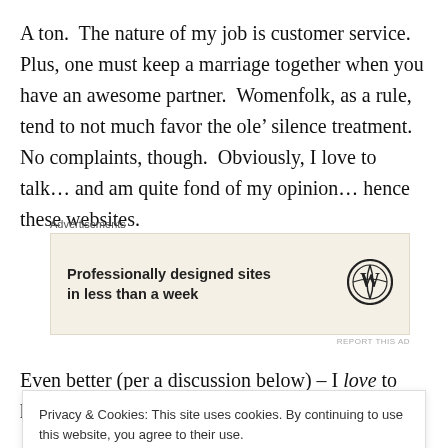A ton.  The nature of my job is customer service.  Plus, one must keep a marriage together when you have an awesome partner.  Womenfolk, as a rule, tend to not much favor the ole’ silence treatment.  No complaints, though.  Obviously, I love to talk… and am quite fond of my opinion… hence these websites.
[Figure (other): WordPress advertisement banner: 'Professionally designed sites in less than a week' with WordPress logo]
Even better (per a discussion below) – I love to have
Privacy & Cookies: This site uses cookies. By continuing to use this website, you agree to their use.
To find out more, including how to control cookies, see here: Cookie Policy
Allow me to give you an example on a hot button topic